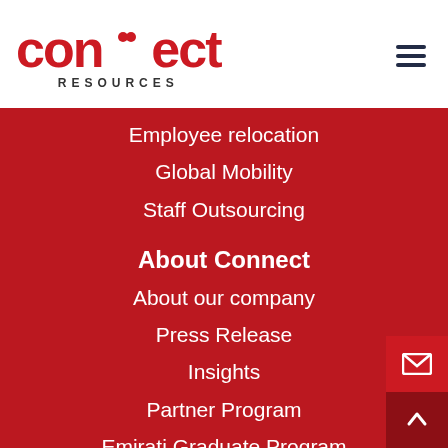Connect Resources
Employee relocation
Global Mobility
Staff Outsourcing
About Connect
About our company
Press Release
Insights
Partner Program
Emirati Graduate Program
About this website
Terms and conditions
Privacy Policy